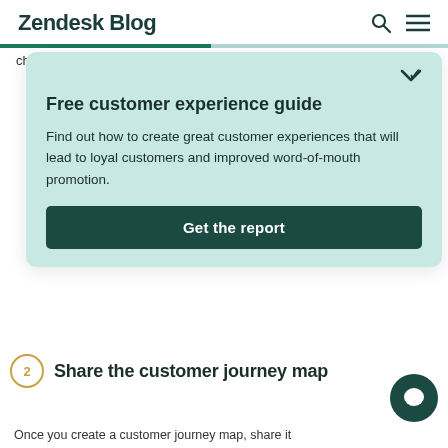Zendesk Blog
channel they're using. Offer a consistent experience
Free customer experience guide
Find out how to create great customer experiences that will lead to loyal customers and improved word-of-mouth promotion.
Get the report
Share the customer journey map
Once you create a customer journey map, share it